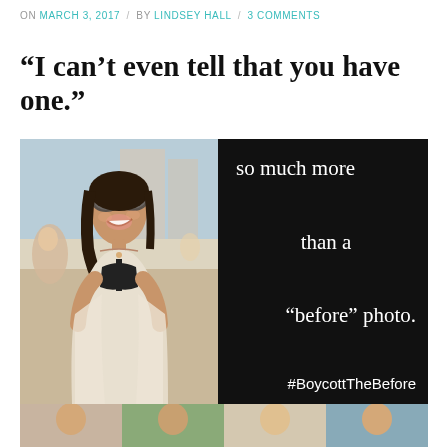ON MARCH 3, 2017 / BY LINDSEY HALL / 3 COMMENTS
“I can’t even tell that you have one.”
[Figure (photo): Left half: photo of a smiling woman in a black bikini top and white cover-up, wearing large round sunglasses, wet hair, outdoors near a pool. Right half: black background with white text reading 'so much more than a "before" photo. #BoycottTheBefore'. Bottom strip: partial photos of additional people.]